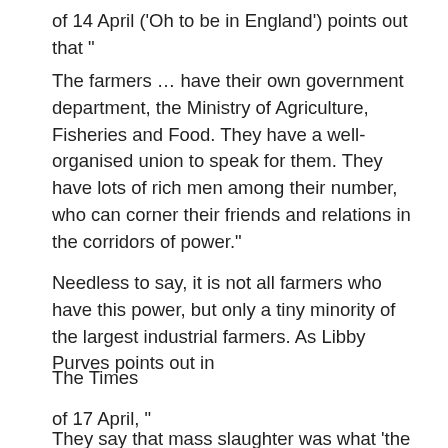of 14 April ('Oh to be in England') points out that “
The farmers … have their own government department, the Ministry of Agriculture, Fisheries and Food. They have a well-organised union to speak for them. They have lots of rich men among their number, who can corner their friends and relations in the corridors of power.”
Needless to say, it is not all farmers who have this power, but only a tiny minority of the largest industrial farmers. As Libby Purves points out in
The Times
of 17 April, “
They say that mass slaughter was what ‘the farmers’